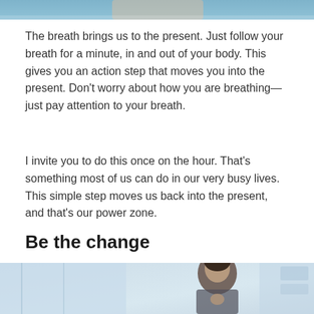[Figure (photo): Partial photo at top of page, cropped, showing a person in a blue sweater]
The breath brings us to the present. Just follow your breath for a minute, in and out of your body. This gives you an action step that moves you into the present. Don’t worry about how you are breathing—just pay attention to your breath.
I invite you to do this once on the hour. That’s something most of us can do in our very busy lives. This simple step moves us back into the present, and that’s our power zone.
Be the change
[Figure (photo): Bottom photo showing a man in business attire looking upward thoughtfully]